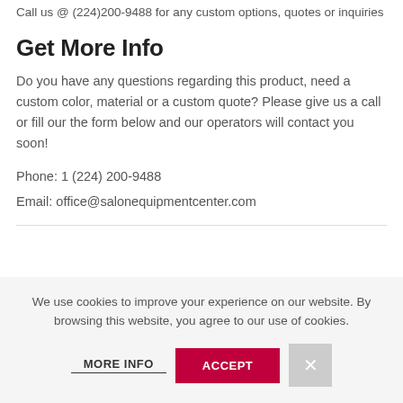Call us @ (224)200-9488 for any custom options, quotes or inquiries
Get More Info
Do you have any questions regarding this product, need a custom color, material or a custom quote? Please give us a call or fill our the form below and our operators will contact you soon!
Phone: 1 (224) 200-9488
Email: office@salonequipmentcenter.com
We use cookies to improve your experience on our website. By browsing this website, you agree to our use of cookies.